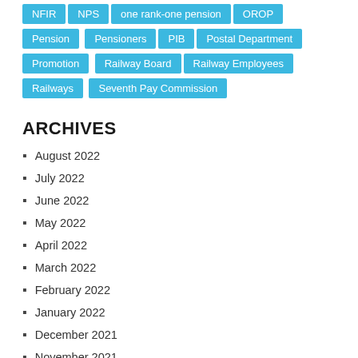NFIR
NPS
one rank-one pension
OROP
Pension
Pensioners
PIB
Postal Department
Promotion
Railway Board
Railway Employees
Railways
Seventh Pay Commission
ARCHIVES
August 2022
July 2022
June 2022
May 2022
April 2022
March 2022
February 2022
January 2022
December 2021
November 2021
October 2021